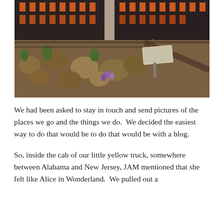[Figure (photo): Outdoor garden scene along old railroad tracks with dried grasses, small purple flowers, a wooden walkway/railing curving to the right, and red-brick buildings with orange-lit windows visible in the background. Appears to be the High Line park in New York City.]
We had been asked to stay in touch and send pictures of the places we go and the things we do.  We decided the easiest way to do that would be to do that would be with a blog.
So, inside the cab of our little yellow truck, somewhere between Alabama and New Jersey, JAM mentioned that she felt like Alice in Wonderland.  We pulled out a